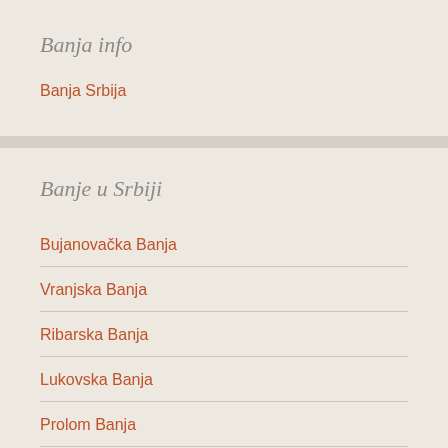Banja info
Banja Srbija
Banje u Srbiji
Bujanovačka Banja
Vranjska Banja
Ribarska Banja
Lukovska Banja
Prolom Banja
Banja Vrdnik